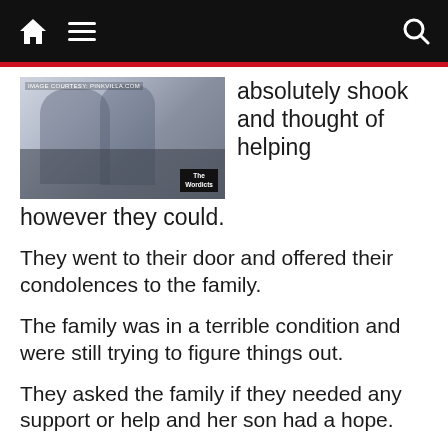Navigation bar with home, menu, and search icons
[Figure (photo): Blurred/silhouetted image of people, with 'The Wordicts' watermark logo in bottom right and image courtesy text in top left]
absolutely shook and thought of helping however they could.
They went to their door and offered their condolences to the family.
The family was in a terrible condition and were still trying to figure things out.
They asked the family if they needed any support or help and her son had a hope.
He asked them if they could help to carry his mother's ‘arthi’ to the crematorium.